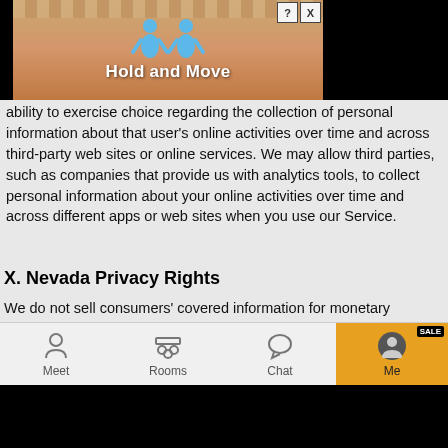[Figure (screenshot): Ad banner showing 'Hold and Move' game with cartoon figures and close/help buttons]
ability to exercise choice regarding the collection of personal information about that user's online activities over time and across third-party web sites or online services. We may allow third parties, such as companies that provide us with analytics tools, to collect personal information about your online activities over time and across different apps or web sites when you use our Service.
X. Nevada Privacy Rights
We do not sell consumers' covered information for monetary consideration (as defined in Chapter 603A of the Nevada Revised Statutes). However, if you are a Nevada resident, you have the right to submit a request directing us not to sell your personal information. To submit such a request, please contact us by mail at JNJ Mobile Inc., 6 Liberty Sq PMB 96493, Boston MA 02109, by email at support@mocospace.com or contact us here
[Figure (screenshot): Mobile app navigation bar with Meet, Rooms, Chat, and Me (active with SALE badge) tabs]